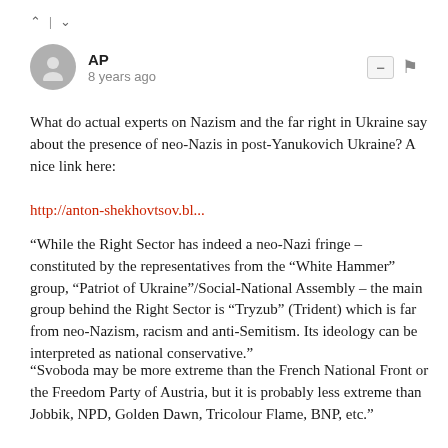^ | v
AP
8 years ago
What do actual experts on Nazism and the far right in Ukraine say about the presence of neo-Nazis in post-Yanukovich Ukraine? A nice link here:
http://anton-shekhovtsov.bl...
“While the Right Sector has indeed a neo-Nazi fringe – constituted by the representatives from the “White Hammer” group, “Patriot of Ukraine”/Social-National Assembly – the main group behind the Right Sector is “Tryzub” (Trident) which is far from neo-Nazism, racism and anti-Semitism. Its ideology can be interpreted as national conservative.”
“Svoboda may be more extreme than the French National Front or the Freedom Party of Austria, but it is probably less extreme than Jobbik, NPD, Golden Dawn, Tricolour Flame, BNP, etc.”
An open letter signed by dozens of leading experts on the far right in Ukraine, states: